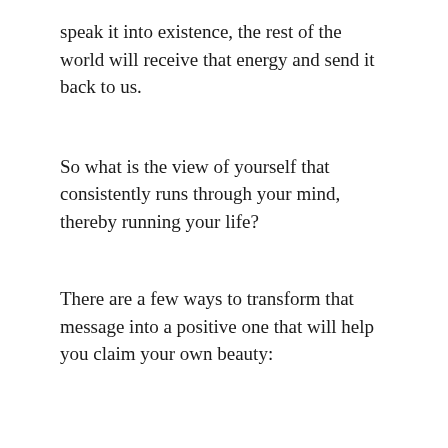speak it into existence, the rest of the world will receive that energy and send it back to us.
So what is the view of yourself that consistently runs through your mind, thereby running your life?
There are a few ways to transform that message into a positive one that will help you claim your own beauty: